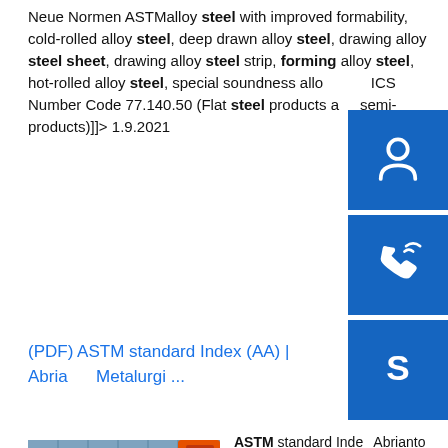Neue Normen ASTMalloy steel with improved formability, cold-rolled alloy steel, deep drawn alloy steel, drawing alloy steel sheet, drawing alloy steel strip, forming alloy steel, hot-rolled alloy steel, special soundness alloy steel ICS Number Code 77.140.50 (Flat steel products and semi-products)]]> 1.9.2021
(PDF) ASTM standard Index (AA) | Abrianto Metalurgi ...
[Figure (photo): Photo of steel sheets/plates stacked in an industrial setting, showing brown/rusted metal sheets and what appears to be a storage or processing area.]
ASTM standard Index (AA) | Abrianto Metalurgi. Download Download Full PDF Package Download Full PDF Package. This Paper. A short summary of this paper. 26 Full PDFs related to this paper. Read Paper. Download Download PDF. Download Full PDF Package.sp.info NORMSERVIS s.r.o. - Nové normy ASTMStandard Specification for